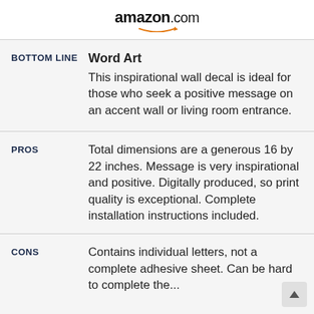amazon.com
BOTTOM LINE
Word Art
This inspirational wall decal is ideal for those who seek a positive message on an accent wall or living room entrance.
PROS
Total dimensions are a generous 16 by 22 inches. Message is very inspirational and positive. Digitally produced, so print quality is exceptional. Complete installation instructions included.
CONS
Contains individual letters, not a complete adhesive sheet. Can be hard to complete the...